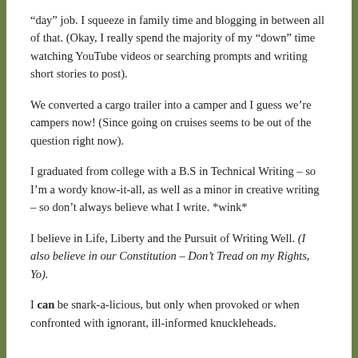“day” job. I squeeze in family time and blogging in between all of that. (Okay, I really spend the majority of my “down” time watching YouTube videos or searching prompts and writing short stories to post).
We converted a cargo trailer into a camper and I guess we’re campers now! (Since going on cruises seems to be out of the question right now).
I graduated from college with a B.S in Technical Writing – so I’m a wordy know-it-all, as well as a minor in creative writing – so don’t always believe what I write. *wink*
I believe in Life, Liberty and the Pursuit of Writing Well. (I also believe in our Constitution – Don’t Tread on my Rights, Yo).
I can be snark-a-licious, but only when provoked or when confronted with ignorant, ill-informed knuckleheads.